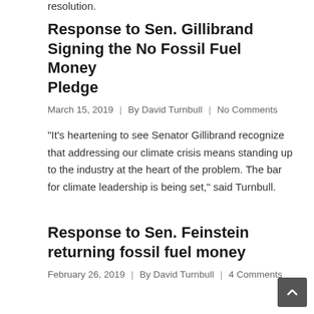resolution.
Response to Sen. Gillibrand Signing the No Fossil Fuel Money Pledge
March 15, 2019  |  By David Turnbull  |  No Comments
“It’s heartening to see Senator Gillibrand recognize that addressing our climate crisis means standing up to the industry at the heart of the problem. The bar for climate leadership is being set,” said Turnbull.
Response to Sen. Feinstein returning fossil fuel money
February 26, 2019  |  By David Turnbull  |  4 Comments